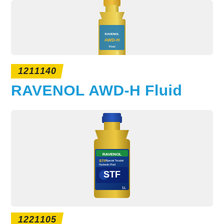[Figure (photo): Partial view of a RAVENOL product bottle (golden/yellow color, 1L) shown from above, partially cropped at top of page]
1211140
RAVENOL AWD-H Fluid
[Figure (photo): RAVENOL STF (Special Toroidal Fluid) 1L bottle - golden colored bottle with blue cap and blue label showing 'STF' branding]
1221105